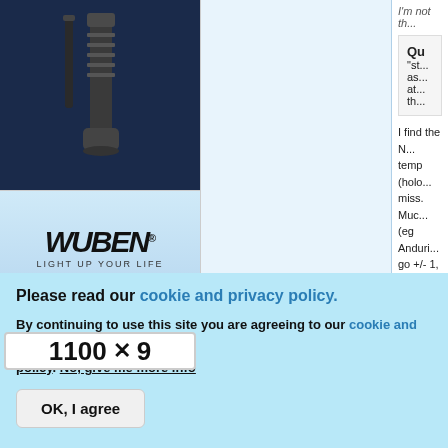[Figure (photo): Product photo of flashlight/torch in dark blue background]
[Figure (logo): Wuben brand logo with tagline LIGHT UP YOUR LIFE and product price bar showing 1100 and X9]
I'm not th...
Qu... "st... as... at... th...
I find the N... temp (holo... miss. Muc... (eg Anduri... go +/- 1, te...
Please read our cookie and privacy policy.
By continuing to use this site you are agreeing to our cookie and privacy policy. No, give me more info
OK, I agree